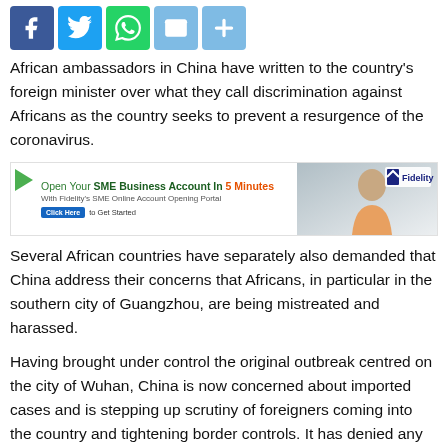[Figure (other): Social media share buttons: Facebook (blue), Twitter (light blue), WhatsApp (green), Email (light blue), Share/Plus (light blue)]
African ambassadors in China have written to the country's foreign minister over what they call discrimination against Africans as the country seeks to prevent a resurgence of the coronavirus.
[Figure (other): Fidelity Bank advertisement: Open Your SME Business Account In 5 Minutes. With Fidelity's SME Online Account Opening Portal. Click Here to Get Started. Shows a woman smiling with phone and Fidelity logo.]
Several African countries have separately also demanded that China address their concerns that Africans, in particular in the southern city of Guangzhou, are being mistreated and harassed.
Having brought under control the original outbreak centred on the city of Wuhan, China is now concerned about imported cases and is stepping up scrutiny of foreigners coming into the country and tightening border controls. It has denied any discrimination.